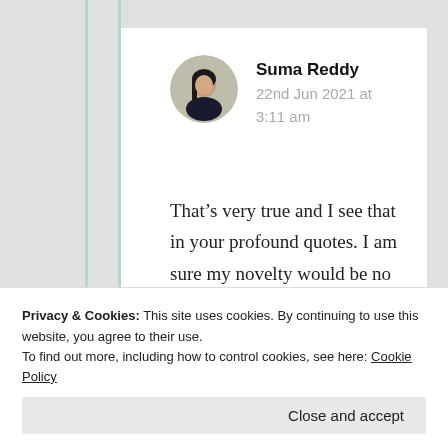Suma Reddy
22nd Jun 2021 at 3:11 am
That’s very true and I see that in your profound quotes. I am sure my novelty would be no
Privacy & Cookies: This site uses cookies. By continuing to use this website, you agree to their use. To find out more, including how to control cookies, see here: Cookie Policy
Close and accept